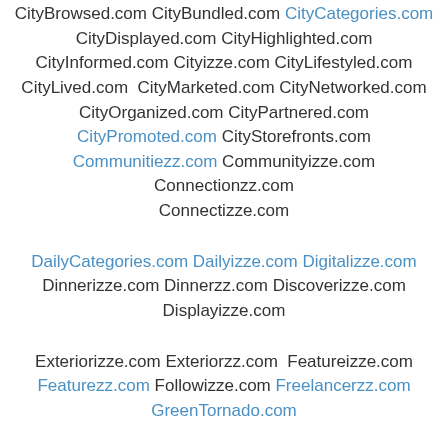CityBrowsed.com CityBundled.com CityCategories.com CityDisplayed.com CityHighlighted.com CityInformed.com Cityizze.com CityLifestyled.com CityLived.com CityMarketed.com CityNetworked.com CityOrganized.com CityPartnered.com CityPromoted.com CityStorefronts.com Communitiezz.com Communityizze.com Connectionzz.com Connectizze.com
DailyCategories.com Dailyizze.com Digitalizze.com Dinnerizze.com Dinnerzz.com Discoverizze.com Displayizze.com
Exteriorizze.com Exteriorzz.com Featureizze.com Featurezz.com Followizze.com Freelancerzz.com GreenTornado.com
Homeizze.com HomeRepairzz.com HomeServicezz.com